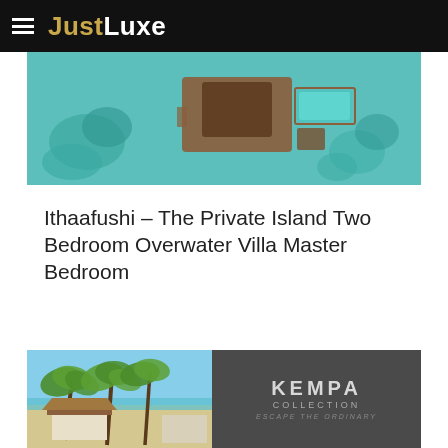JustLuxe
[Figure (photo): Aerial view of an overwater villa with teal/turquoise water, wooden deck structure, infinity pool, and tropical vegetation surrounding it.]
Ithaafushi – The Private Island Two Bedroom Overwater Villa Master Bedroom
[Figure (photo): Bottom banner with left half showing tropical beach scene with palm trees and a villa, right half showing Kempa Collection logo on dark grey background with text 'Escape The Ordinary'.]